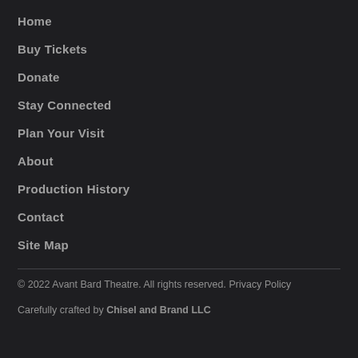Home
Buy Tickets
Donate
Stay Connected
Plan Your Visit
About
Production History
Contact
Site Map
© 2022 Avant Bard Theatre. All rights reserved. Privacy Policy
Carefully crafted by Chisel and Brand LLC